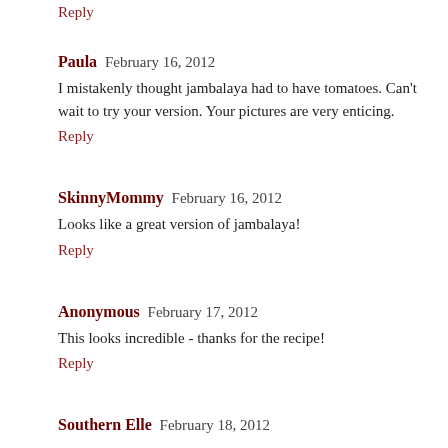Reply
Paula  February 16, 2012
I mistakenly thought jambalaya had to have tomatoes. Can't wait to try your version. Your pictures are very enticing.
Reply
SkinnyMommy  February 16, 2012
Looks like a great version of jambalaya!
Reply
Anonymous  February 17, 2012
This looks incredible - thanks for the recipe!
Reply
Southern Elle  February 18, 2012